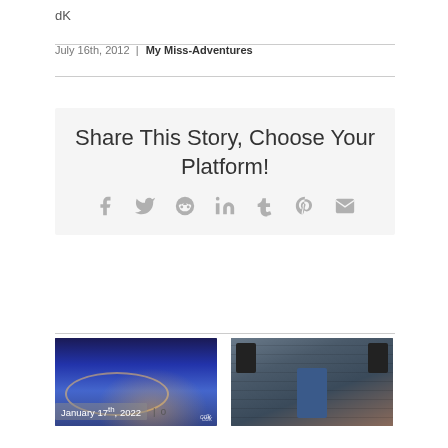dK
July 16th, 2012 | My Miss-Adventures
[Figure (infographic): Share This Story, Choose Your Platform! box with social media icons: Facebook, Twitter, Reddit, LinkedIn, Tumblr, Pinterest, Email]
[Figure (photo): Aerial HDR photo of city at night with highway curves, watermark 'cdk']
January 17th, 2022 | 0
[Figure (photo): Man playing guitar outdoors against brick wall with speakers]